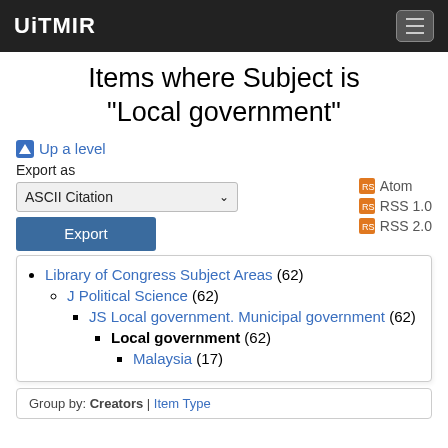UiTMIR
Items where Subject is "Local government"
Up a level
Export as  ASCII Citation  Export   Atom  RSS 1.0  RSS 2.0
Library of Congress Subject Areas (62)
J Political Science (62)
JS Local government. Municipal government (62)
Local government (62)
Malaysia (17)
Group by: Creators | Item Type